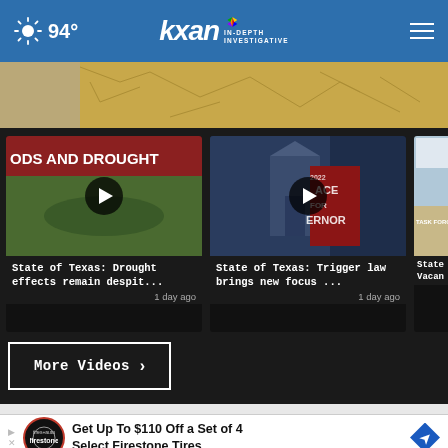94° | KXAN IN-DEPTH INVESTIGATIVE
[Figure (photo): Cracked dry earth / drought ground texture hero image]
[Figure (screenshot): Video thumbnail: ODS AND DROUGHT with play button]
State of Texas: Drought effects remain despit...
1 day ago
[Figure (screenshot): Video thumbnail: Race for Governor with play button]
State of Texas: Trigger law brings new focus ...
1 day ago
[Figure (screenshot): Partial video thumbnail: State / Vacan...]
State Vacan
More Videos ›
Get Up To $110 Off a Set of 4 Select Firestone Tires